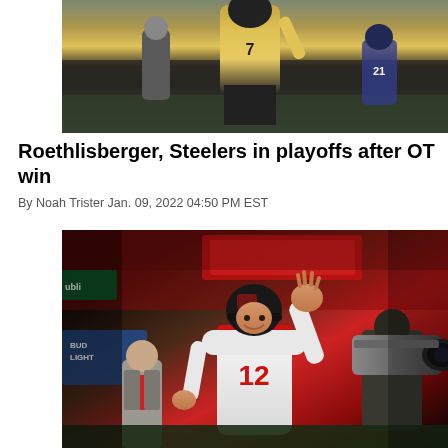[Figure (photo): Football player in yellow and black Steelers uniform on field, referees and other players in background]
Roethlisberger, Steelers in playoffs after OT win
By Noah Trister Jan. 09, 2022 04:50 PM EST
[Figure (photo): NFL player wearing Buccaneers #12 jersey (Tom Brady) waving to crowd after game, Bud Light signage visible in background, cameraman and other people on field]